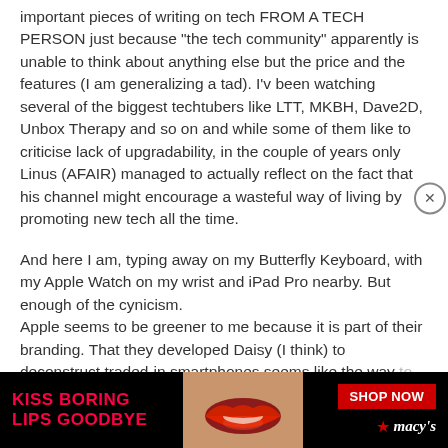important pieces of writing on tech FROM A TECH PERSON just because "the tech community" apparently is unable to think about anything else but the price and the features (I am generalizing a tad). I'v been watching several of the biggest techtubers like LTT, MKBH, Dave2D, Unbox Therapy and so on and while some of them like to criticise lack of upgradability, in the couple of years only Linus (AFAIR) managed to actually reflect on the fact that his channel might encourage a wasteful way of living by promoting new tech all the time.
And here I am, typing away on my Butterfly Keyboard, with my Apple Watch on my wrist and iPad Pro nearby. But enough of the cynicism.
Apple seems to be greener to me because it is part of their branding. That they developed Daisy (I think) to deconstruct traded-in smartphones seems like the way to go... first option
[Figure (infographic): Advertisement banner for Macy's lipstick promotion. Black background with red bold text 'KISS BORING LIPS GOODBYE' on left, a close-up photo of lips wearing red lipstick in center, 'SHOP NOW' button in red rectangle on right, and Macy's logo with red star below.]